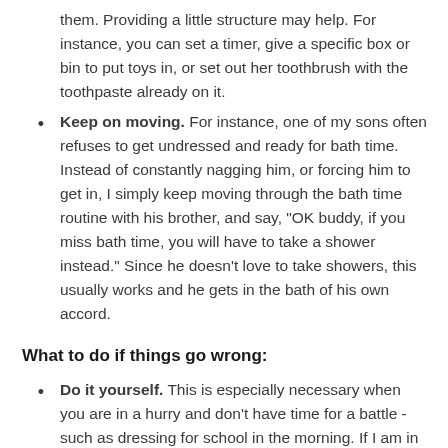them. Providing a little structure may help. For instance, you can set a timer, give a specific box or bin to put toys in, or set out her toothbrush with the toothpaste already on it.
Keep on moving. For instance, one of my sons often refuses to get undressed and ready for bath time. Instead of constantly nagging him, or forcing him to get in, I simply keep moving through the bath time routine with his brother, and say, "OK buddy, if you miss bath time, you will have to take a shower instead." Since he doesn't love to take showers, this usually works and he gets in the bath of his own accord.
What to do if things go wrong:
Do it yourself. This is especially necessary when you are in a hurry and don't have time for a battle - such as dressing for school in the morning. If I am in this situation, I change the scenario a bit to